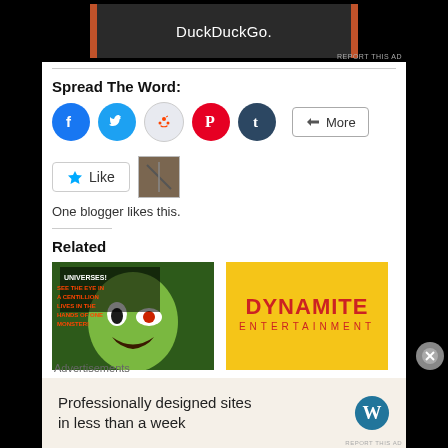[Figure (screenshot): DuckDuckGo advertisement banner at top of page]
Spread The Word:
[Figure (infographic): Social sharing buttons: Facebook, Twitter, Reddit, Pinterest, Tumblr, and More button]
[Figure (infographic): Like button with star icon and a blogger avatar thumbnail]
One blogger likes this.
Related
[Figure (photo): Horror comic book cover showing a monster with text about universes]
[Figure (logo): Dynamite Entertainment logo on yellow background]
Advertisements
[Figure (infographic): WordPress advertisement: Professionally designed sites in less than a week]